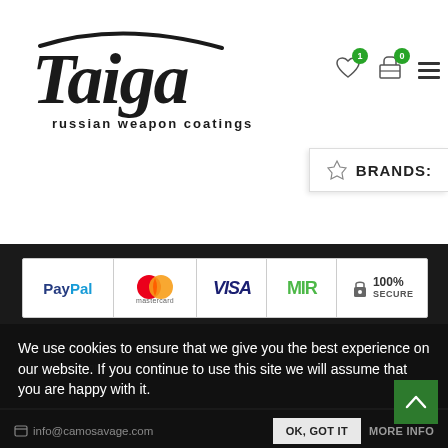[Figure (logo): Taiga russian weapon coatings logo - stylized script text with tagline]
[Figure (infographic): Payment method icons: PayPal, Mastercard, VISA, MIR, 100% Secure]
We use cookies to ensure that we give you the best experience on our website. If you continue to use this site we will assume that you are happy with it.
info@camosavage.com
OK, GOT IT
MORE INFO
BRANDS: